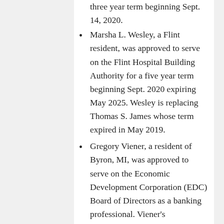three year term beginning Sept. 14, 2020.
Marsha L. Wesley, a Flint resident, was approved to serve on the Flint Hospital Building Authority for a five year term beginning Sept. 2020 expiring May 2025. Wesley is replacing Thomas S. James whose term expired in May 2019.
Gregory Viener, a resident of Byron, MI, was approved to serve on the Economic Development Corporation (EDC) Board of Directors as a banking professional. Viener’s appointment is a six year term beginning Sept. 2020 expiring Septiember 2026.